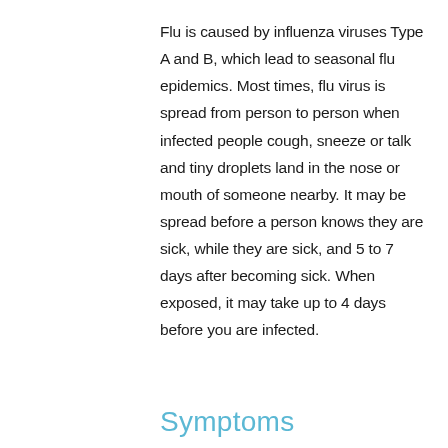Flu is caused by influenza viruses Type A and B, which lead to seasonal flu epidemics. Most times, flu virus is spread from person to person when infected people cough, sneeze or talk and tiny droplets land in the nose or mouth of someone nearby. It may be spread before a person knows they are sick, while they are sick, and 5 to 7 days after becoming sick. When exposed, it may take up to 4 days before you are infected.
Symptoms